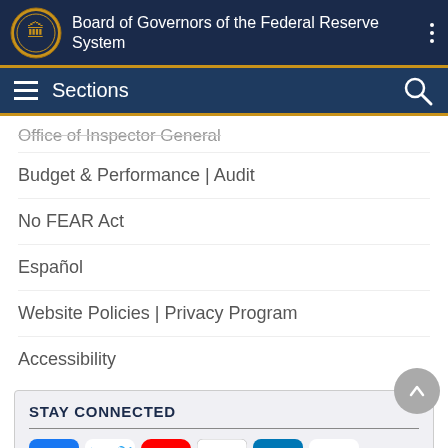Board of Governors of the Federal Reserve System
Sections
Office of Inspector General
Budget & Performance | Audit
No FEAR Act
Español
Website Policies | Privacy Program
Accessibility
STAY CONNECTED
[Figure (infographic): Social media icons row: Facebook, Twitter, YouTube, Flickr, LinkedIn, RSS feed, and email envelope icon]